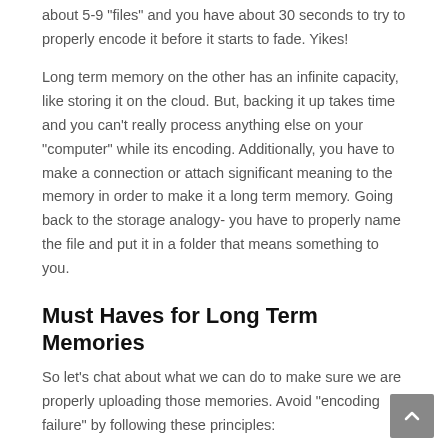about 5-9 "files" and you have about 30 seconds to try to properly encode it before it starts to fade. Yikes!
Long term memory on the other has an infinite capacity, like storing it on the cloud. But, backing it up takes time and you can't really process anything else on your "computer" while its encoding. Additionally, you have to make a connection or attach significant meaning to the memory in order to make it a long term memory. Going back to the storage analogy- you have to properly name the file and put it in a folder that means something to you.
Must Haves for Long Term Memories
So let's chat about what we can do to make sure we are properly uploading those memories. Avoid "encoding failure" by following these principles:
Motivation